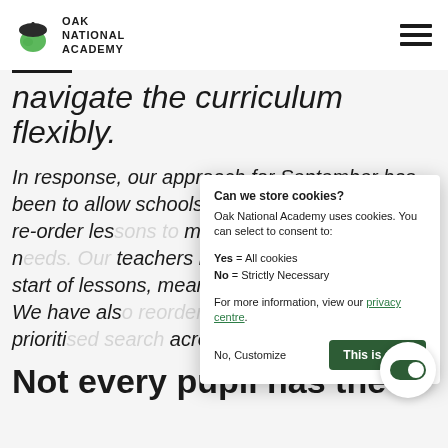Oak National Academy
navigate the curriculum flexibly.
In response, our approach for September has been to allow schools and the flexibility to re-order lessons to match and meet their needs. Our teachers now won't reference a fixed start of lessons, meaning it works for any group. We have also reordered our curriculum and prioritised search across all areas of the site.
Not every pupil has the
Can we store cookies?
Oak National Academy uses cookies. You can select to consent to:
Yes = All cookies
No = Strictly Necessary
For more information, view our privacy centre.
No, Customize    This is okay